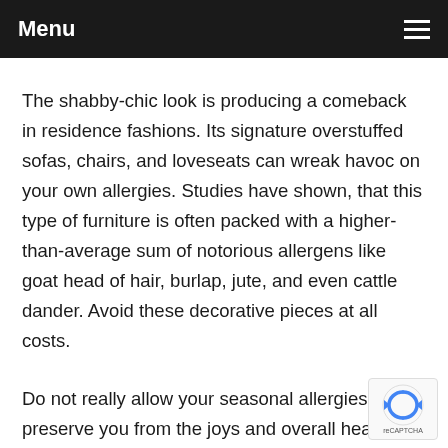Menu
The shabby-chic look is producing a comeback in residence fashions. Its signature overstuffed sofas, chairs, and loveseats can wreak havoc on your own allergies. Studies have shown, that this type of furniture is often packed with a higher-than-average sum of notorious allergens like goat head of hair, burlap, jute, and even cattle dander. Avoid these decorative pieces at all costs.
Do not really allow your seasonal allergies preserve you from the joys and overall health great things about a good run outdoors. The best time to engage in